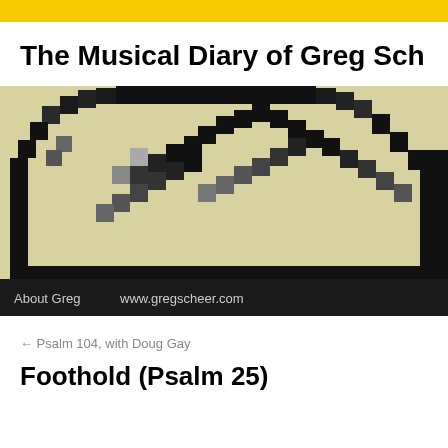The Musical Diary of Greg Sch…
[Figure (photo): A close-up pixelated/blocky image of a person's dark hair against a beige/cream background, with a dark navigation bar at the bottom showing 'About Greg' and 'www.gregscheer.com']
← Psalm 104, with Doug Gay
Foothold (Psalm 25)